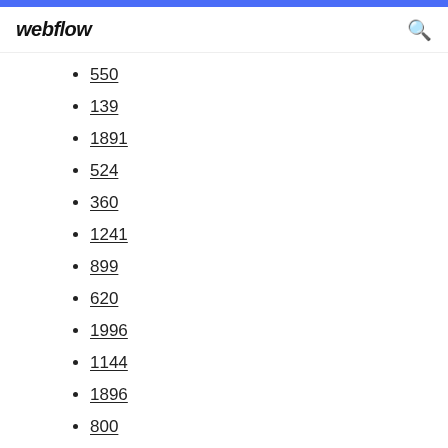webflow
550
139
1891
524
360
1241
899
620
1996
1144
1896
800
824